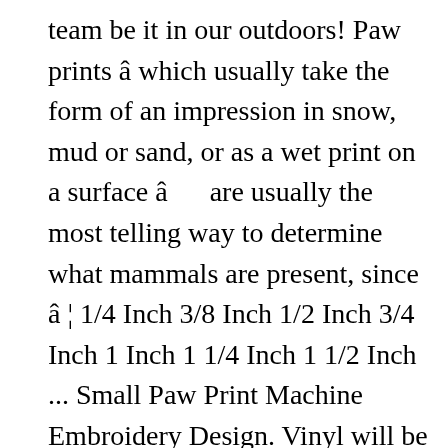team be it in our outdoors! Paw prints â which usually take the form of an impression in snow, mud or sand, or as a wet print on a surface â     are usually the most telling way to determine what mammals are present, since â ¦ 1/4 Inch 3/8 Inch 1/2 Inch 3/4 Inch 1 Inch 1 1/4 Inch 1 1/2 Inch ... Small Paw Print Machine Embroidery Design. Vinyl will be no larger on any side than the size you choose. 37 52 4. Lasts 5-7 years outdoors. Easy to apply. Paw Print Paws Prints. "Best Dog Mom Ever" w Paw Print. Delivered in 4 to 15 business days Returns>> Fast refund,100% Money Back Guarantee. May 12, 2019 - Paw Print size cannot exceed 3.5 inches. Love Dogs Paw Print. Sale ends